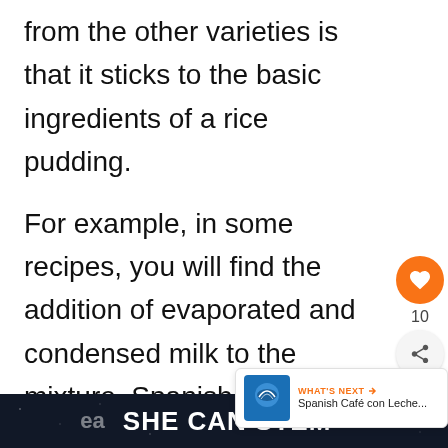from the other varieties is that it sticks to the basic ingredients of a rice pudding.
For example, in some recipes, you will find the addition of evaporated and condensed milk to the mixture. Spanish Arroz con Leche sticks to whole milk.
Gather your ingredients for Arroz con Leche and get ready to cook one of the
SHE CAN STEM